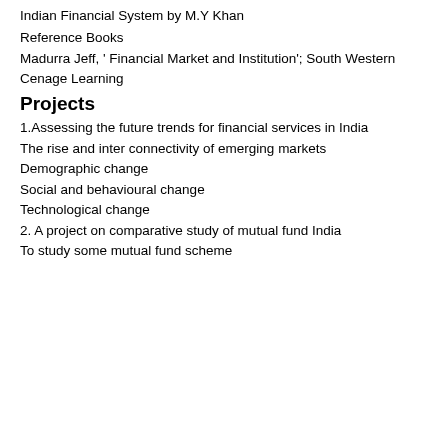Indian Financial System by M.Y Khan
Reference Books
Madurra Jeff, ' Financial Market and Institution'; South Western Cenage Learning
Projects
1.Assessing the future trends for financial services in India
The rise and inter connectivity of emerging markets
Demographic change
Social and behavioural change
Technological change
2. A project on comparative study of mutual fund India
To study some mutual fund scheme